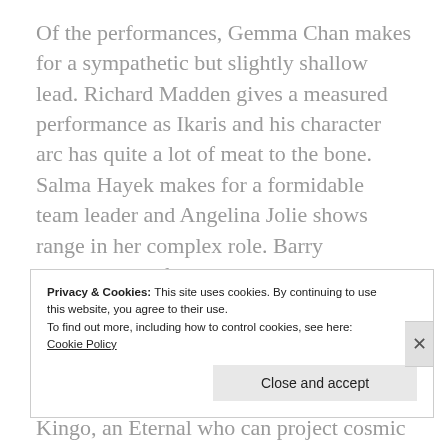Of the performances, Gemma Chan makes for a sympathetic but slightly shallow lead. Richard Madden gives a measured performance as Ikaris and his character arc has quite a lot of meat to the bone. Salma Hayek makes for a formidable team leader and Angelina Jolie shows range in her complex role. Barry Keoghan's performance is typically mystical and his fellow teammates can never be quite sure if they are on the same wavelength as him. Kumail Nunjiani is clearly having fun as the wisecracking Kingo, an Eternal who can project cosmic energy projectiles
Privacy & Cookies: This site uses cookies. By continuing to use this website, you agree to their use. To find out more, including how to control cookies, see here: Cookie Policy
Close and accept